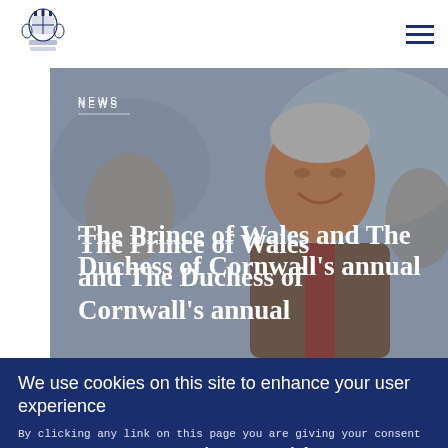Prince of Wales official website header with royal crest logo and navigation hamburger menu
[Figure (photo): Photo of an elderly man smiling outdoors, with blurred crowd in background. News article hero image.]
NEWS
The Prince of Wales and The Duchess of Cornwall's annual
We use cookies on this site to enhance your user experience
By clicking any link on this page you are giving your consent for us to set cookies. No, give me more info
OK, I agree